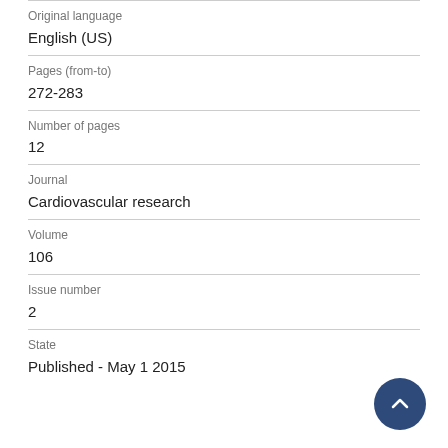Original language
English (US)
Pages (from-to)
272-283
Number of pages
12
Journal
Cardiovascular research
Volume
106
Issue number
2
State
Published - May 1 2015
[Figure (other): Back to top button - circular dark blue button with an upward chevron arrow]